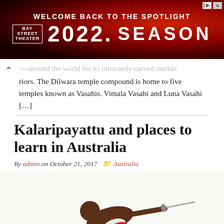[Figure (screenshot): Bay Street Theater advertisement banner: 'Welcome Back to the Spotlight' 2022 Season, dark red background]
...around the world for its intricately carved marble warriors. The Dilwara temple compound is home to five temples known as Vasahis. Vimala Vasahi and Luna Vasahi [...]
Kalaripayattu and places to learn in Australia
By admin on October 21, 2017   Australia
[Figure (photo): Two Kalaripayattu martial artists, one leaping horizontally holding a sword, another in defensive crouch, white background]